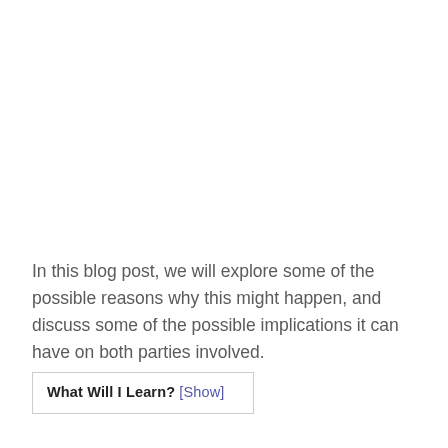In this blog post, we will explore some of the possible reasons why this might happen, and discuss some of the possible implications it can have on both parties involved.
What Will I Learn? [Show]